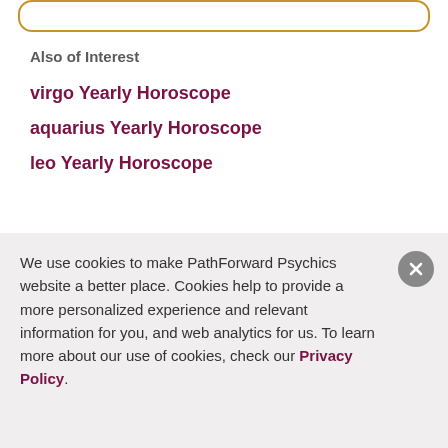Also of Interest
virgo Yearly Horoscope
aquarius Yearly Horoscope
leo Yearly Horoscope
[Figure (illustration): Dark maroon footer banner with dotted arc/semicircle logo in gold dots and partial white logo text]
We use cookies to make PathForward Psychics website a better place. Cookies help to provide a more personalized experience and relevant information for you, and web analytics for us. To learn more about our use of cookies, check our Privacy Policy.